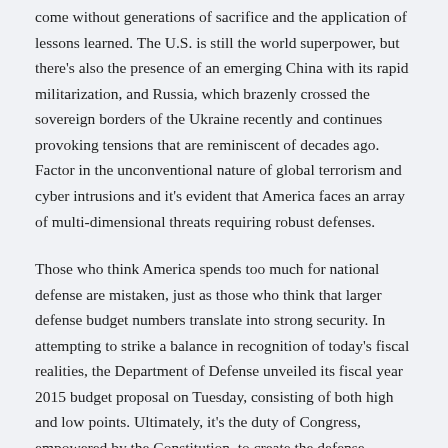come without generations of sacrifice and the application of lessons learned. The U.S. is still the world superpower, but there's also the presence of an emerging China with its rapid militarization, and Russia, which brazenly crossed the sovereign borders of the Ukraine recently and continues provoking tensions that are reminiscent of decades ago. Factor in the unconventional nature of global terrorism and cyber intrusions and it's evident that America faces an array of multi-dimensional threats requiring robust defenses.
Those who think America spends too much for national defense are mistaken, just as those who think that larger defense budget numbers translate into strong security. In attempting to strike a balance in recognition of today's fiscal realities, the Department of Defense unveiled its fiscal year 2015 budget proposal on Tuesday, consisting of both high and low points. Ultimately, it's the duty of Congress, empowered by the Constitution, to create the defense budget, but the Pentagon's blueprint does